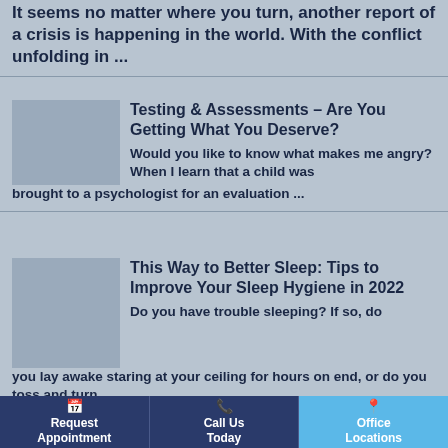It seems no matter where you turn, another report of a crisis is happening in the world. With the conflict unfolding in ...
Testing & Assessments – Are You Getting What You Deserve?
Would you like to know what makes me angry? When I learn that a child was brought to a psychologist for an evaluation ...
This Way to Better Sleep: Tips to Improve Your Sleep Hygiene in 2022
Do you have trouble sleeping? If so, do you lay awake staring at your ceiling for hours on end, or do you toss and turn ...
Request Appointment  |  Call Us Today  |  Office Locations